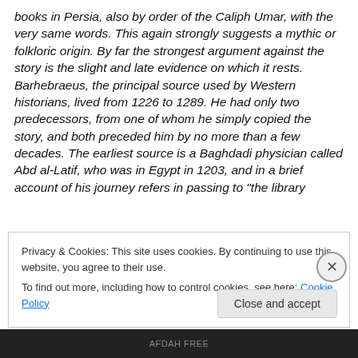books in Persia, also by order of the Caliph Umar, with the very same words. This again strongly suggests a mythic or folkloric origin. By far the strongest argument against the story is the slight and late evidence on which it rests. Barhebraeus, the principal source used by Western historians, lived from 1226 to 1289. He had only two predecessors, from one of whom he simply copied the story, and both preceded him by no more than a few decades. The earliest source is a Baghdadi physician called Abd al-Latif, who was in Egypt in 1203, and in a brief account of his journey refers in passing to "the library
Privacy & Cookies: This site uses cookies. By continuing to use this website, you agree to their use.
To find out more, including how to control cookies, see here: Cookie Policy
Close and accept